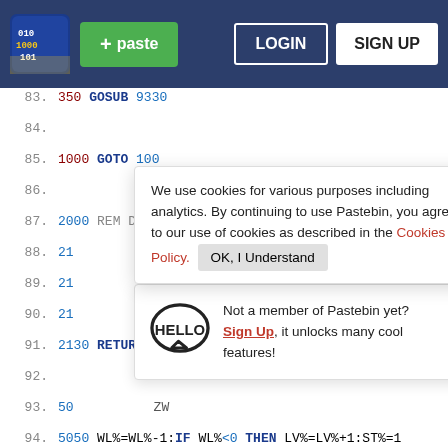Pastebin navigation bar with logo, + paste button, LOGIN and SIGN UP buttons
83. 350 GOSUB 9330
84.
85. 1000 GOTO 100
86.
87. 2000 REM DZWIEK
88. 21
89. 21
90. 21
91. 2130 RETURN
92.
93. 50  ZW
94. 5050 WL%=WL%-1:IF WL%<0 THEN LV%=LV%+1:ST%=1
95. 5051 RETURN
96.
97. 6999 REM SUBRUTYNKI KOMPUTEROWYCH POSTACI
[Figure (screenshot): Cookie consent banner: 'We use cookies for various purposes including analytics. By continuing to use Pastebin, you agree to our use of cookies as described in the Cookies Policy. OK, I Understand']
[Figure (infographic): Hello popup: speech bubble with HELLO, text 'Not a member of Pastebin yet? Sign Up, it unlocks many cool features!']